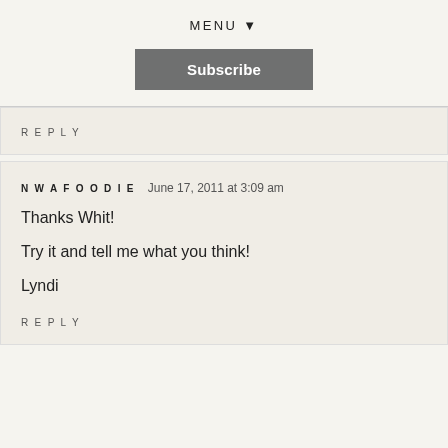MENU ▼
Subscribe
REPLY
NWAFOODIE   June 17, 2011 at 3:09 am

Thanks Whit!

Try it and tell me what you think!

Lyndi
REPLY